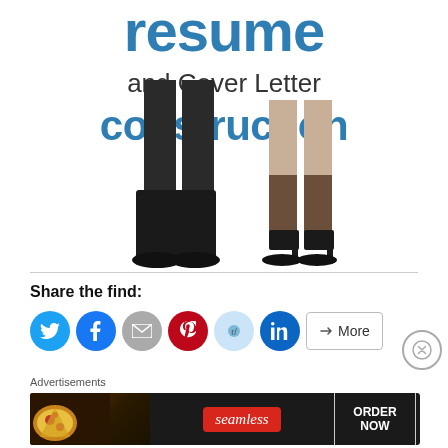[Figure (illustration): Book cover showing two people's legs (one in black boots, one in heels) with text overlay: 'resume and Cover Letter construction'. The visible portion shows the lower half of the book cover, with large blue 'resume' text at top, 'and Cover Letter' in dark text, 'construction' in blue, and the legs of two professionals below.]
Share the find:
[Figure (infographic): Row of social media sharing buttons: Twitter (blue circle), Facebook (blue circle), Email (gray circle), Pinterest (red circle), Reddit (light blue circle), LinkedIn (dark blue circle), and a More button with share icon.]
[Figure (infographic): Close/dismiss button (X in circle) on the right side.]
Advertisements
[Figure (screenshot): Seamless food delivery advertisement banner. Dark background with pizza image on left, red 'seamless' badge in center, and 'ORDER NOW' button with white border on right.]